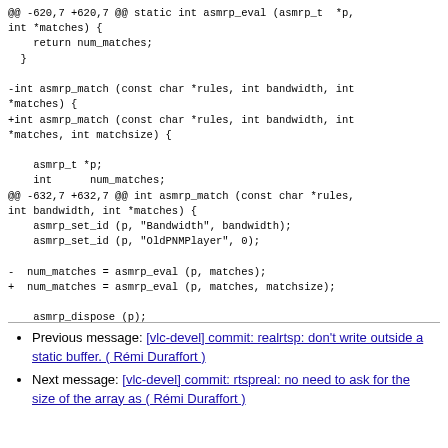@@ -620,7 +620,7 @@ static int asmrp_eval (asmrp_t *p,
int *matches) {
    return num_matches;
  }

-int asmrp_match (const char *rules, int bandwidth, int
*matches) {
+int asmrp_match (const char *rules, int bandwidth, int
*matches, int matchsize) {

    asmrp_t *p;
    int      num_matches;
@@ -632,7 +632,7 @@ int asmrp_match (const char *rules,
int bandwidth, int *matches) {
    asmrp_set_id (p, "Bandwidth", bandwidth);
    asmrp_set_id (p, "OldPNMPlayer", 0);

-  num_matches = asmrp_eval (p, matches);
+  num_matches = asmrp_eval (p, matches, matchsize);

    asmrp_dispose (p);
Previous message: [vlc-devel] commit: realrtsp: don't write outside a static buffer. ( Rémi Duraffort )
Next message: [vlc-devel] commit: rtspreal: no need to ask for the size of the array as ( Rémi Duraffort )